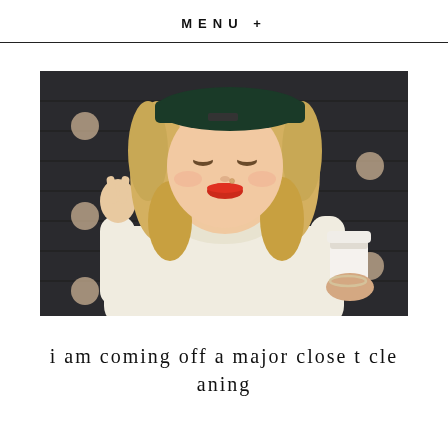MENU +
[Figure (photo): Young woman with curly blonde hair and a dark green beret-style hat, wearing a cream turtleneck sweater, making a peace sign with one hand and holding a white coffee cup in the other, posing in front of a dark wall with polka dot pattern.]
i am coming off a major closet cleaning